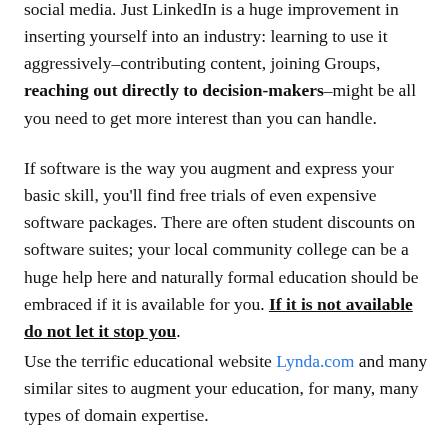social media. Just LinkedIn is a huge improvement in inserting yourself into an industry: learning to use it aggressively–contributing content, joining Groups, reaching out directly to decision-makers–might be all you need to get more interest than you can handle.
If software is the way you augment and express your basic skill, you'll find free trials of even expensive software packages. There are often student discounts on software suites; your local community college can be a huge help here and naturally formal education should be embraced if it is available for you. If it is not available do not let it stop you.
Use the terrific educational website Lynda.com and many similar sites to augment your education, for many, many types of domain expertise.
And lets determine your direction is it to edit content, with